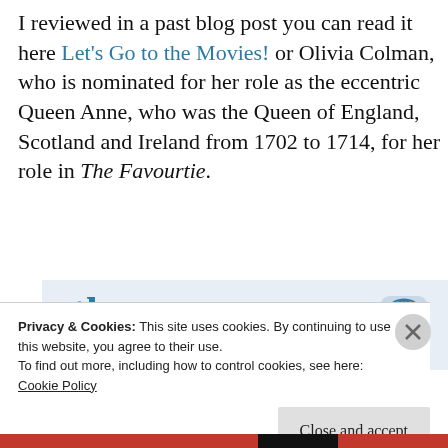I reviewed in a past blog post you can read it here Let's Go to the Movies! or Olivia Colman, who is nominated for her role as the eccentric Queen Anne, who was the Queen of England, Scotland and Ireland from 1702 to 1714, for her role in The Favourtie.
[Figure (screenshot): App advertisement banner showing 'the go.' text and WordPress logo with GET THE APP label]
Privacy & Cookies: This site uses cookies. By continuing to use this website, you agree to their use.
To find out more, including how to control cookies, see here:
Cookie Policy
Close and accept